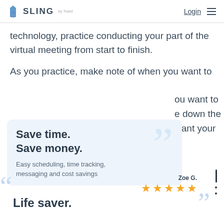SLING by Toast | Login
technology, practice conducting your part of the virtual meeting from start to finish.
As you practice, make note of when you want to ou want to e down the want your
Save time. Save money. Easy scheduling, time tracking, messaging and cost savings
Zoe G. Life saver.